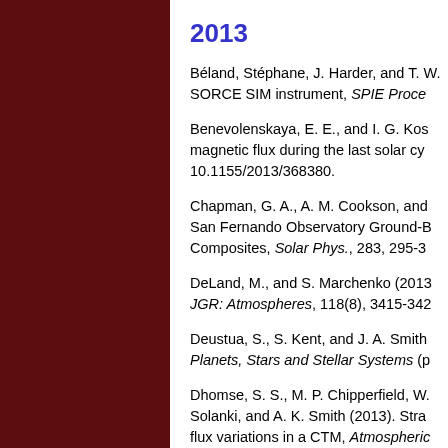2013
Béland, Stéphane, J. Harder, and T. W... SORCE SIM instrument, SPIE Proce...
Benevolenskaya, E. E., and I. G. Kos... magnetic flux during the last solar cy... 10.1155/2013/368380.
Chapman, G. A., A. M. Cookson, and... San Fernando Observatory Ground-B... Composites, Solar Phys., 283, 295-3...
DeLand, M., and S. Marchenko (2013... JGR: Atmospheres, 118(8), 3415-342...
Deustua, S., S. Kent, and J. A. Smith... Planets, Stars and Stellar Systems (p...
Dhomse, S. S., M. P. Chipperfield, W.... Solanki, and A. K. Smith (2013). Stra... flux variations in a CTM, Atmospheric... 10.5194/acpd-13-12263-2013.
Ermolli, I., K. Matthes, T. Dudok de W... Langematz, P. Pilewskie, E. Rozanov... (2013). Recent variability of the sol...